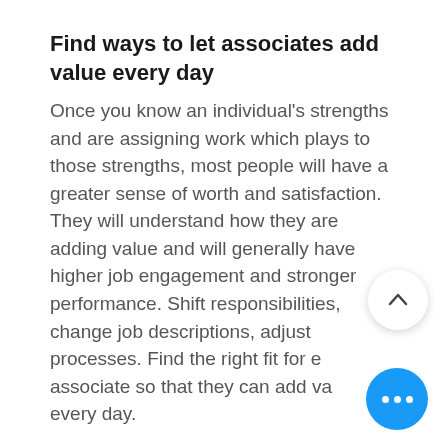Find ways to let associates add value every day
Once you know an individual's strengths and are assigning work which plays to those strengths, most people will have a greater sense of worth and satisfaction. They will understand how they are adding value and will generally have higher job engagement and stronger performance. Shift responsibilities, change job descriptions, adjust processes. Find the right fit for each associate so that they can add value every day.
By finding ways to let associates add value every day you are